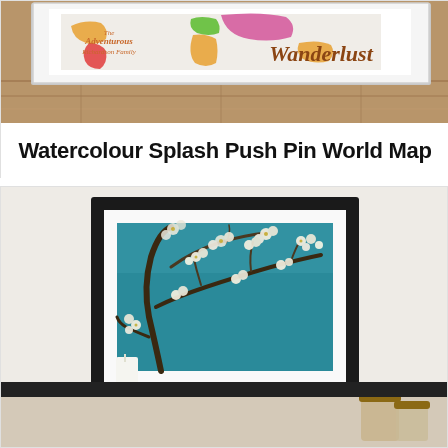[Figure (photo): Watercolour Splash Push Pin World Map print displayed in a white frame on a wooden floor, showing colourful world map with 'Wanderlust' script text]
Watercolour Splash Push Pin World Map
[Figure (photo): Van Gogh Almond Blossom painting in a black frame displayed on a light shelf/mantle with candles and glass jars, against a white wall background]